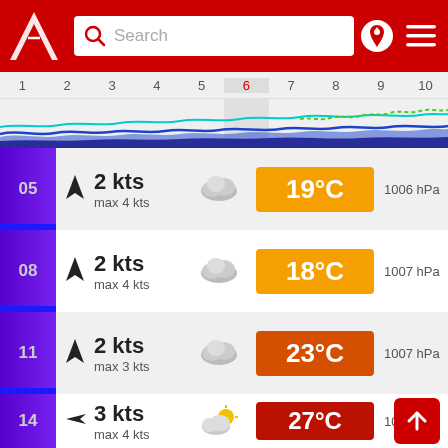[Figure (screenshot): Red app header with logo, search bar, pin icon and hamburger menu]
[Figure (line-chart): Timeline chart showing days 1-10 with wave/tide data lines in blue, cyan, green]
05  ▲ 2 kts  max 4 kts  [cloud]  19°C  1006 hPa
08  ▲ 2 kts  max 4 kts  [cloud]  18°C  1007 hPa
11  ▲ 2 kts  max 3 kts  [cloud]  23°C  1007 hPa
14  ◄ 3 kts  max 4 kts  [partly cloudy]  27°C  1005 hPa
17  ▲ 3 kts  max 6 kts  [partly cloudy]  28°C  1004 hPa